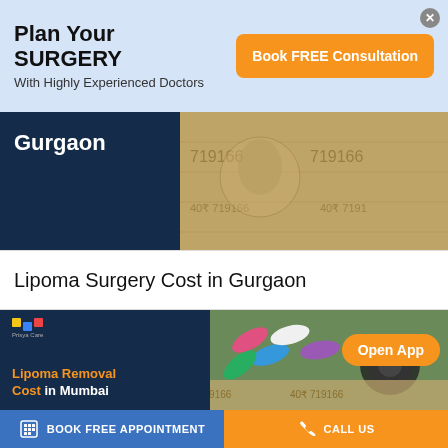[Figure (infographic): Ad banner with light blue background showing 'Plan Your SURGERY - With Highly Experienced Doctors' and an orange 'Book FREE Consultation' button with a close X button]
[Figure (photo): Photo showing Indian rupee currency notes with 'Gurgaon' text overlay on dark blue background]
Lipoma Surgery Cost in Gurgaon
[Figure (infographic): Prisma Care branded image showing pills, stethoscope and Indian rupee notes with text 'Lipoma Removal Cost in Mumbai' and orange 'Open App' button]
BOOK FREE APPOINTMENT   CALL US